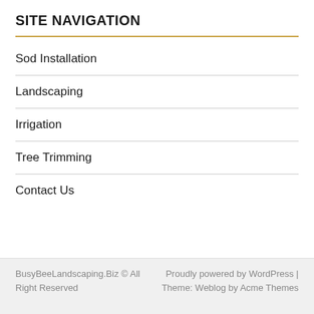SITE NAVIGATION
Sod Installation
Landscaping
Irrigation
Tree Trimming
Contact Us
BusyBeeLandscaping.Biz © All Right Reserved | Proudly powered by WordPress | Theme: Weblog by Acme Themes